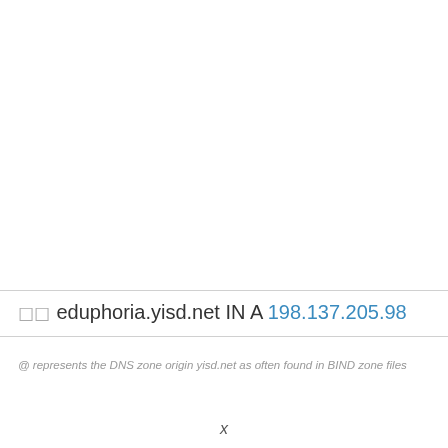☐☐ eduphoria.yisd.net IN A 198.137.205.98
@ represents the DNS zone origin yisd.net as often found in BIND zone files